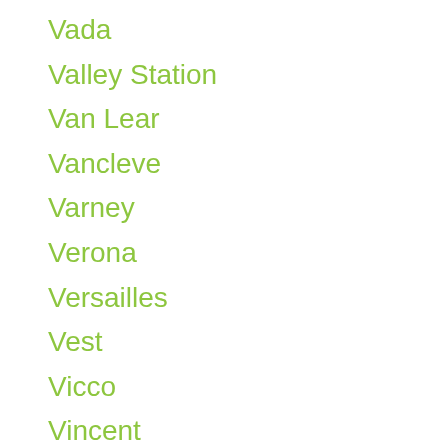Vada
Valley Station
Van Lear
Vancleve
Varney
Verona
Versailles
Vest
Vicco
Vincent
Vine Grove
Waddy
Waldo
Walker
Wallingford